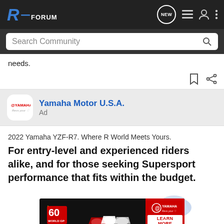R-FORUM (navigation bar with logo, NEW, list, user, menu icons)
Search Community
needs.
Yamaha Motor U.S.A. Ad
2022 Yamaha YZF-R7. Where R World Meets Yours. For entry-level and experienced riders alike, and for those seeking Supersport performance that fits within the budget.
[Figure (photo): Yamaha motorcycles advertisement banner showing classic Yamaha race bikes with 60th Anniversary World GP branding and LEARN MORE button]